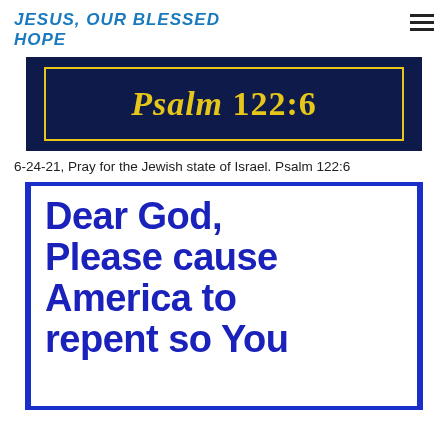JESUS, OUR BLESSED HOPE
[Figure (illustration): Dark navy blue banner image with yellow/gold old-English style text reading 'Psalm 122:6', surrounded by a yellow border on a dark navy background.]
6-24-21, Pray for the Jewish state of Israel. Psalm 122:6
[Figure (illustration): Blue-bordered white panel with large bold blue block-style text reading: 'Dear God, Please cause America to repent so You' (text cut off at bottom)]